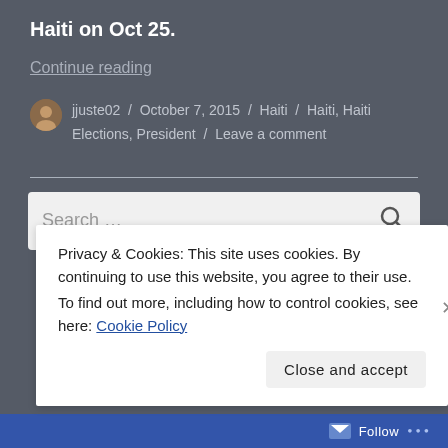Haiti on Oct 25.
Continue reading
jjuste02 / October 7, 2015 / Haiti / Haiti, Haiti Elections, President / Leave a comment
Privacy & Cookies: This site uses cookies. By continuing to use this website, you agree to their use.
To find out more, including how to control cookies, see here: Cookie Policy
Close and accept
Follow